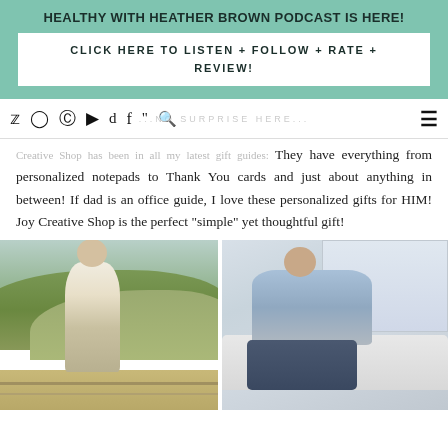HEALTHY WITH HEATHER BROWN PODCAST IS HERE!
CLICK HERE TO LISTEN + FOLLOW + RATE + REVIEW!
[Figure (other): Navigation bar with social media icons: Twitter, Instagram, Pinterest, YouTube, TikTok, Facebook, Shopping cart, Search, and hamburger menu]
Creative Shop has been in all my latest gift guides! They have everything from personalized notepads to Thank You cards and just about anything in between! If dad is an office guide, I love these personalized gifts for HIM! Joy Creative Shop is the perfect “simple” yet thoughtful gift!
[Figure (photo): Man in white floral shirt and khaki shorts standing on an outdoor deck with green hills and city view in background]
[Figure (photo): Man in light blue polo shirt sitting on white outdoor furniture, light background]